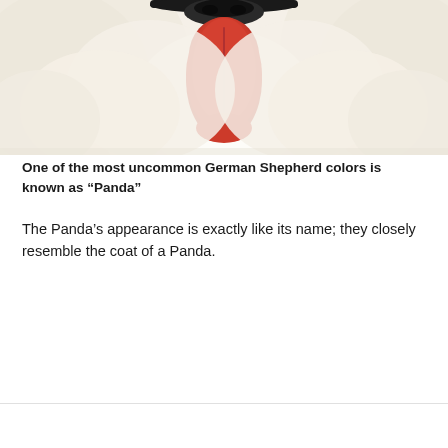[Figure (photo): Close-up photo of a white/cream-colored fluffy dog (resembling a white German Shepherd or Samoyed) with its pink-red tongue hanging out and a dark nose visible at the top of the frame, against a white background.]
One of the most uncommon German Shepherd colors is known as “Panda”
The Panda’s appearance is exactly like its name; they closely resemble the coat of a Panda.